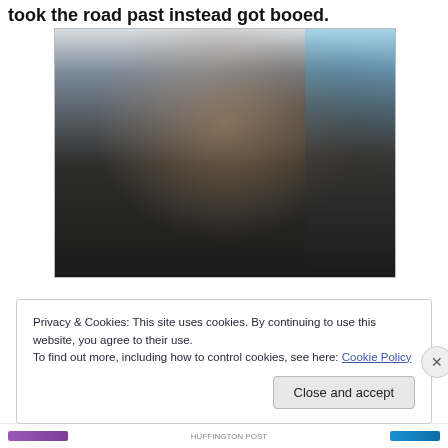took the road past instead got booed.
[Figure (photo): A man wearing a black cap and sunglasses, dressed in a black t-shirt and white vest/jacket, with a yellow wristband on one wrist and a black wristband on the other, holding something up to his mouth, standing outdoors with a grey siding wall behind him and a patio area visible to the right.]
Privacy & Cookies: This site uses cookies. By continuing to use this website, you agree to their use.
To find out more, including how to control cookies, see here: Cookie Policy
Close and accept